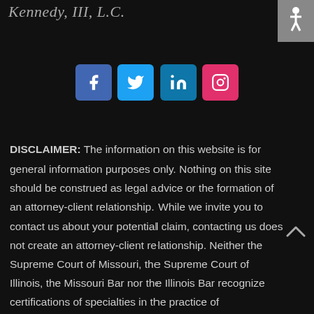Kennedy, III, L.C.
[Figure (infographic): Social media icons row: Facebook (blue), Twitter (light blue), LinkedIn (teal), Instagram (pink/red)]
DISCLAIMER: The information on this website is for general information purposes only. Nothing on this site should be construed as legal advice or the formation of an attorney-client relationship. While we invite you to contact us about your potential claim, contacting us does not create an attorney-client relationship. Neither the Supreme Court of Missouri, the Supreme Court of Illinois, the Missouri Bar nor the Illinois Bar recognize certifications of specialties in the practice of